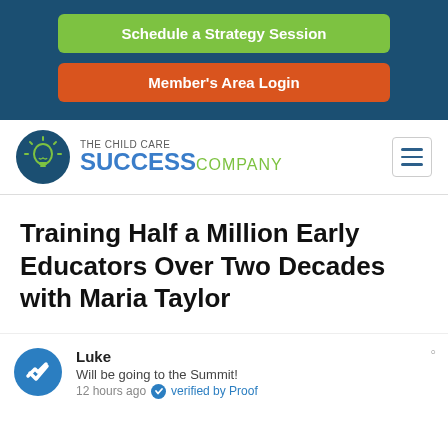[Figure (other): Green button labeled 'Schedule a Strategy Session' and orange button labeled 'Member's Area Login' on dark blue background]
[Figure (logo): The Child Care Success Company logo with light bulb icon, blue text 'SUCCESS' and green text 'COMPANY', with hamburger menu icon]
Training Half a Million Early Educators Over Two Decades with Maria Taylor
Luke
Will be going to the Summit!
12 hours ago  verified by Proof